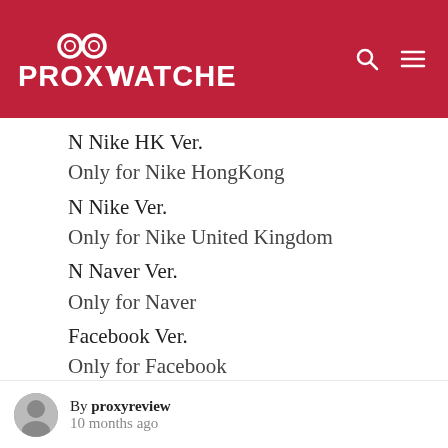PROXYWATCHER
N Nike HK Ver.
Only for Nike HongKong
N Nike Ver.
Only for Nike United Kingdom
N Naver Ver.
Only for Naver
Facebook Ver.
Only for Facebook
Reddit
Only for Reddit
sd
By proxyreview
10 months ago